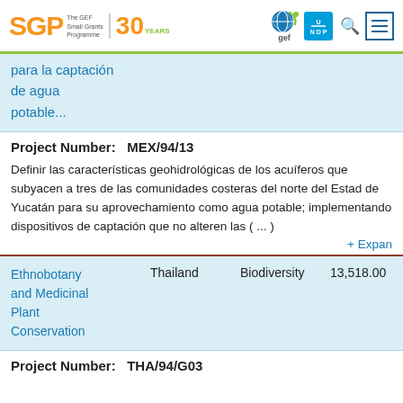SGP The GEF Small Grants Programme 30 YEARS | GEF | UNDP
para la captación de agua potable...
Project Number:   MEX/94/13
Definir las características geohidrológicas de los acuíferos que subyacen a tres de las comunidades costeras del norte del Estado de Yucatán para su aprovechamiento como agua potable; implementando dispositivos de captación que no alteren las ( ...) + Expand
| Project | Country | Focal Area | Amount |
| --- | --- | --- | --- |
| Ethnobotany and Medicinal Plant Conservation | Thailand | Biodiversity | 13,518.00 |
Project Number:   THA/94/G03